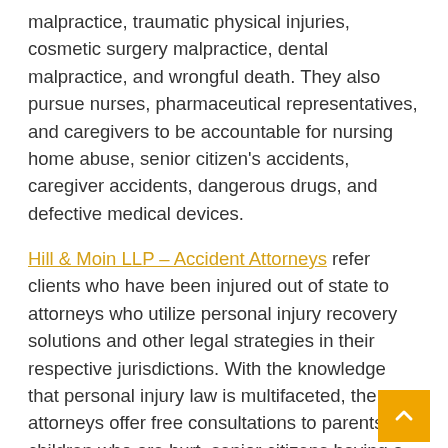malpractice, traumatic physical injuries, cosmetic surgery malpractice, dental malpractice, and wrongful death. They also pursue nurses, pharmaceutical representatives, and caregivers to be accountable for nursing home abuse, senior citizen's accidents, caregiver accidents, dangerous drugs, and defective medical devices.
Hill & Moin LLP – Accident Attorneys refer clients who have been injured out of state to attorneys who utilize personal injury recovery solutions and other legal strategies in their respective jurisdictions. With the knowledge that personal injury law is multifaceted, the attorneys offer free consultations to parents of children who are hurt, senior citizens having a hard time holding their caregivers responsible, and employees injured at work.
To experience personalized legal attention, call (212) 668-6000 to schedule an appointment. Hill & Moin LLP